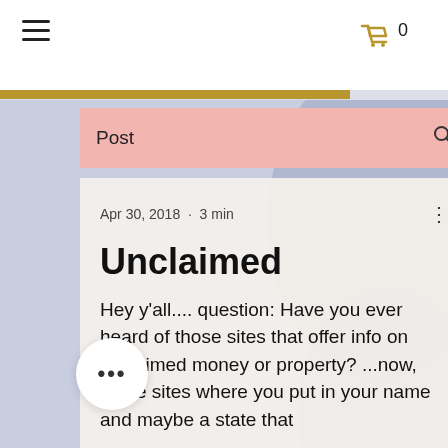≡  🛒 0
Post
Apr 30, 2018 · 3 min
Unclaimed
Hey y'all.... question: Have you ever heard of those sites that offer info on unclaimed money or property? ...now, those sites where you put in your name and maybe a state that